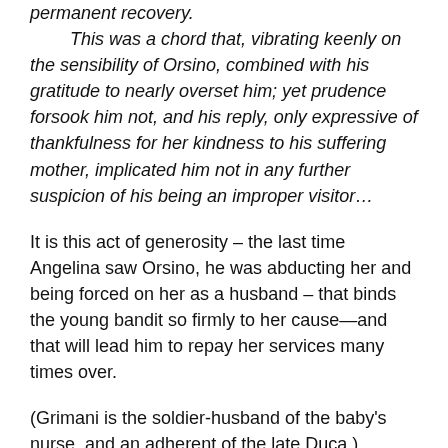permanent recovery.
This was a chord that, vibrating keenly on the sensibility of Orsino, combined with his gratitude to nearly overset him; yet prudence forsook him not, and his reply, only expressive of thankfulness for her kindness to his suffering mother, implicated him not in any further suspicion of his being an improper visitor…
It is this act of generosity – the last time Angelina saw Orsino, he was abducting her and being forced on her as a husband – that binds the young bandit so firmly to her cause—and that will lead him to repay her services many times over.
(Grimani is the soldier-husband of the baby's nurse, and an adherent of the late Duca.)
Things settle down for a time: Angelina devotes herself to